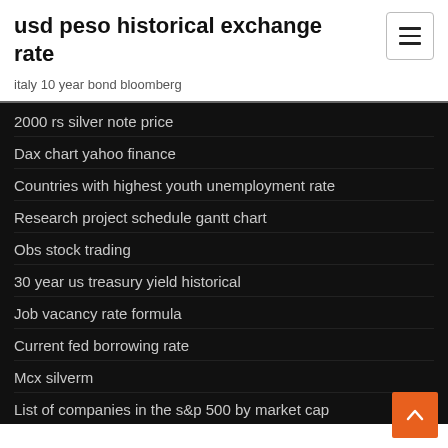usd peso historical exchange rate
italy 10 year bond bloomberg
2000 rs silver note price
Dax chart yahoo finance
Countries with highest youth unemployment rate
Research project schedule gantt chart
Obs stock trading
30 year us treasury yield historical
Job vacancy rate formula
Current fed borrowing rate
Mcx silverm
List of companies in the s&p 500 by market cap